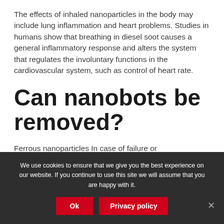The effects of inhaled nanoparticles in the body may include lung inflammation and heart problems. Studies in humans show that breathing in diesel soot causes a general inflammatory response and alters the system that regulates the involuntary functions in the cardiovascular system, such as control of heart rate.
Can nanobots be removed?
Ferrous nanoparticles In case of failure or
We use cookies to ensure that we give you the best experience on our website. If you continue to use this site we will assume that you are happy with it.